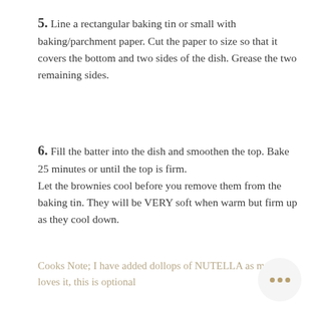5. Line a rectangular baking tin or small with baking/parchment paper. Cut the paper to size so that it covers the bottom and two sides of the dish. Grease the two remaining sides.
6. Fill the batter into the dish and smoothen the top. Bake 25 minutes or until the top is firm.
Let the brownies cool before you remove them from the baking tin. They will be VERY soft when warm but firm up as they cool down.
Cooks Note; I have added dollops of NUTELLA as my son loves it, this is optional